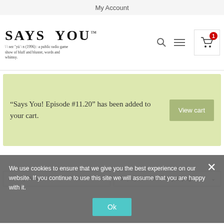My Account
[Figure (logo): Says You! logo with tagline: 'sez yü n (1996): a public radio game show of bluff and bluster, words and whimsy.']
“Says You! Episode #11.20” has been added to your cart.
View cart
Sort by Default
Display 15 Products per page
We use cookies to ensure that we give you the best experience on our website. If you continue to use this site we will assume that you are happy with it.
Ok